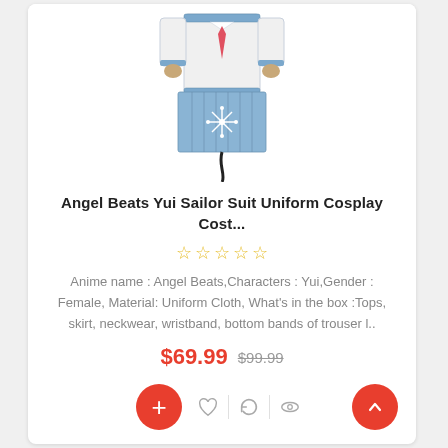[Figure (photo): Product photo of Angel Beats Yui Sailor Suit Uniform Cosplay Costume — white blazer with blue trim, blue pleated skirt with snowflake emblem, red necktie, black ribbon dangling below]
Angel Beats Yui Sailor Suit Uniform Cosplay Cost...
[Figure (other): Five star rating icons in gold/yellow outline]
Anime name : Angel Beats,Characters : Yui,Gender : Female, Material: Uniform Cloth, What's in the box :Tops, skirt, neckwear, wristband, bottom bands of trouser l..
$69.99  $99.99